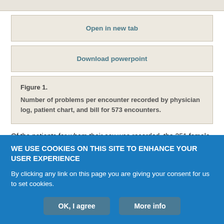[Figure (screenshot): Gray UI button area at top of page]
Open in new tab
Download powerpoint
Figure 1.

Number of problems per encounter recorded by physician log, patient chart, and bill for 573 encounters.
Of the patients for whom their sex was recorded, the 351 female patients had 3.1 problems per encounter. For the 213 male patients
WE USE COOKIES ON THIS SITE TO ENHANCE YOUR USER EXPERIENCE

By clicking any link on this page you are giving your consent for us to set cookies.